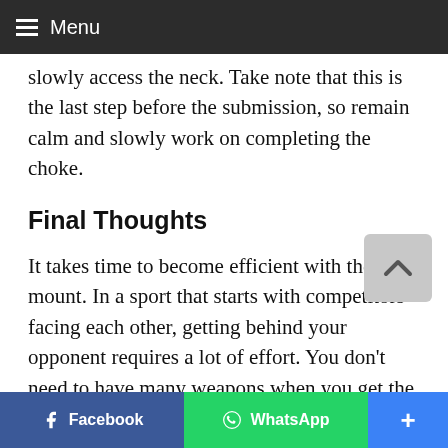Menu
slowly access the neck. Take note that this is the last step before the submission, so remain calm and slowly work on completing the choke.
Final Thoughts
It takes time to become efficient with the back mount. In a sport that starts with competitors facing each other, getting behind your opponent requires a lot of effort. You don't need to have many weapons when you get the back. What's important is you understand the control mechanics that prevent opportunities to escape. If
Facebook  WhatsApp  +